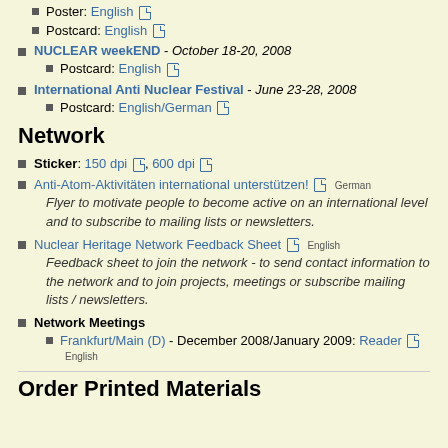Poster: English [doc]
Postcard: English [doc]
NUCLEAR weekEND - October 18-20, 2008
Postcard: English [doc]
International Anti Nuclear Festival - June 23-28, 2008
Postcard: English/German [doc]
Network
Sticker: 150 dpi [doc], 600 dpi [doc]
Anti-Atom-Aktivitäten international unterstützen! [doc] German
Flyer to motivate people to become active on an international level and to subscribe to mailing lists or newsletters.
Nuclear Heritage Network Feedback Sheet [doc] English
Feedback sheet to join the network - to send contact information to the network and to join projects, meetings or subscribe mailing lists / newsletters.
Network Meetings
Frankfurt/Main (D) - December 2008/January 2009: Reader [doc] English
Order Printed Materials